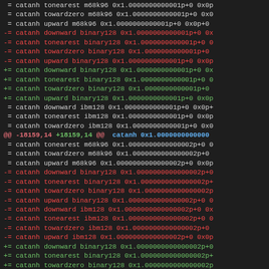Code diff showing catanh function test cases for various rounding modes and float formats including m68k96, binary128, ibm128
[Figure (screenshot): Source code diff with colored lines showing added (+= green), removed (-= red), and context (= white) lines for catanh function tests across rounding modes (downward, tonearest, towardzero, upward) and formats (m68k96, binary128, ibm128) with hex float values]